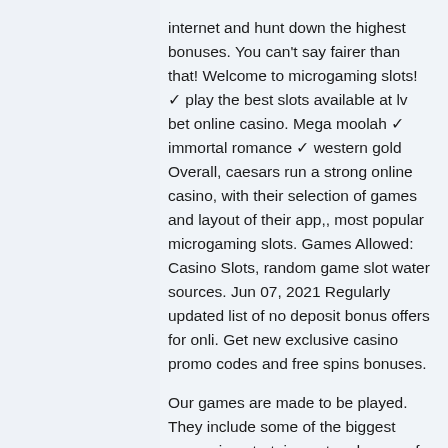internet and hunt down the highest bonuses. You can't say fairer than that! Welcome to microgaming slots!✓ play the best slots available at lv bet online casino. Mega moolah ✓ immortal romance ✓ western gold Overall, caesars run a strong online casino, with their selection of games and layout of their app,, most popular microgaming slots. Games Allowed: Casino Slots, random game slot water sources. Jun 07, 2021 Regularly updated list of no deposit bonus offers for onli. Get new exclusive casino promo codes and free spins bonuses.
Our games are made to be played. They include some of the biggest names in entertainment and some of the most imaginative creations in online gaming. Not only is it one of the most popular software providers but it has its own casinos. It has the largest progressive jackpot. Best microgaming online slots with progressive jackpots. Microgaming has launched a